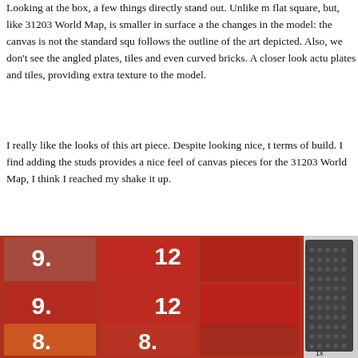Looking at the box, a few things directly stand out. Unlike m flat square, but, like 31203 World Map, is smaller in surface a the changes in the model: the canvas is not the standard squ follows the outline of the art depicted. Also, we don't see the angled plates, tiles and even curved bricks. A closer look actu plates and tiles, providing extra texture to the model.
I really like the looks of this art piece. Despite looking nice, t terms of build. I find adding the studs provides a nice feel of canvas pieces for the 31203 World Map, I think I reached my shake it up.
[Figure (photo): Photo of numbered LEGO bags (labeled 9, 12, 8) filled with red and orange LEGO bricks, alongside a dark LEGO baseplate panel on the right side.]